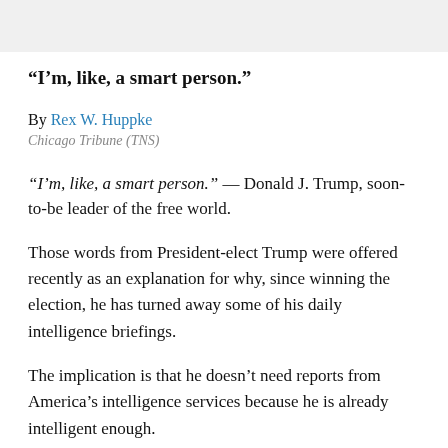“I’m, like, a smart person.”
By Rex W. Huppke
Chicago Tribune (TNS)
“I’m, like, a smart person.” — Donald J. Trump, soon-to-be leader of the free world.
Those words from President-elect Trump were offered recently as an explanation for why, since winning the election, he has turned away some of his daily intelligence briefings.
The implication is that he doesn’t need reports from America’s intelligence services because he is already intelligent enough.